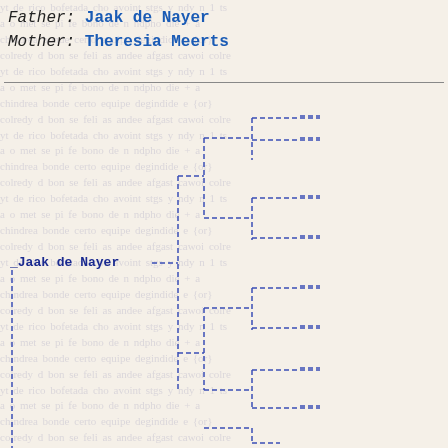Father: Jaak de Nayer
Mother: Theresia Meerts
[Figure (organizational-chart): Genealogical family tree diagram showing ancestors of Jaak de Nayer, with dashed blue lines connecting nodes across multiple generations. The root node at left is labeled '_Jaak de Nayer' and branches extend rightward showing ancestral lines with connecting brackets.]